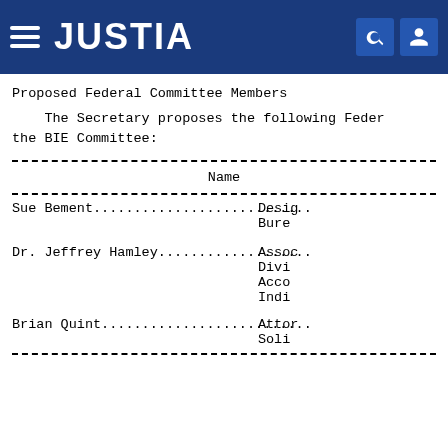JUSTIA
Proposed Federal Committee Members
The Secretary proposes the following Federal members for the BIE Committee:
| Name | Title/Role |
| --- | --- |
| Sue Bement.............................. | Designated Federal Officer, Bureau... |
| Dr. Jeffrey Hamley...................... | Associate... Division... Acco... Indi... |
| Brian Quint............................. | Attorney, Solicitor... |